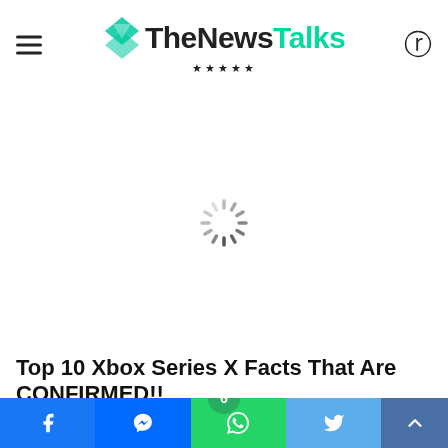TheNewsTalks ☆☆☆☆☆
[Figure (screenshot): Loading spinner (circular activity indicator) centered in white content area]
Top 10 Xbox Series X Facts That Are CONFIRMED!!
[Figure (screenshot): Dark blue/purple article thumbnail image strip with comment badge showing '6']
Social share bar: Facebook, Messenger, WhatsApp, Twitter, Scroll-to-top